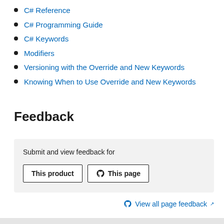C# Reference
C# Programming Guide
C# Keywords
Modifiers
Versioning with the Override and New Keywords
Knowing When to Use Override and New Keywords
Feedback
Submit and view feedback for
This product
This page
View all page feedback